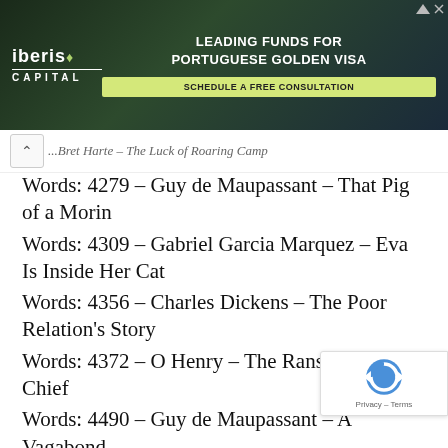[Figure (other): Iberis Capital advertisement banner - Leading Funds for Portuguese Golden Visa, Schedule a Free Consultation]
...Bret Harte – The Luck of Roaring Camp
Words: 4279 – Guy de Maupassant – That Pig of a Morin
Words: 4309 – Gabriel Garcia Marquez – Eva Is Inside Her Cat
Words: 4356 – Charles Dickens – The Poor Relation's Story
Words: 4372 – O Henry – The Ransom of Red Chief
Words: 4490 – Guy de Maupassant – A Vagabond
Words: 4492 – James O'Keefe – Death Ma... Comeback